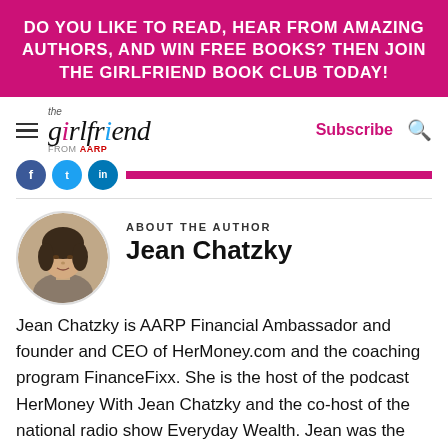DO YOU LIKE TO READ, HEAR FROM AMAZING AUTHORS, AND WIN FREE BOOKS? THEN JOIN THE GIRLFRIEND BOOK CLUB TODAY!
[Figure (logo): The Girlfriend from AARP logo with hamburger menu, Subscribe link and search icon]
[Figure (photo): Round profile photo of Jean Chatzky]
ABOUT THE AUTHOR
Jean Chatzky
Jean Chatzky is AARP Financial Ambassador and founder and CEO of HerMoney.com and the coaching program FinanceFixx. She is the host of the podcast HerMoney With Jean Chatzky and the co-host of the national radio show Everyday Wealth. Jean was the Financial Editor for NBC Today for 25 years. She is an award-winning